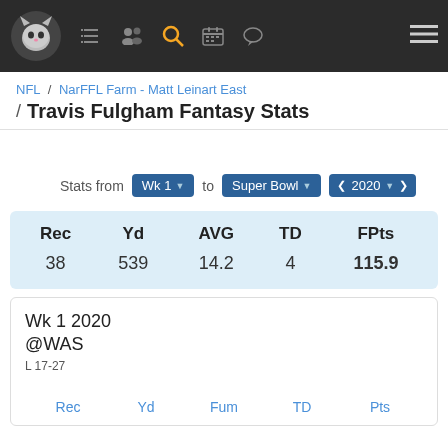[Figure (screenshot): Dark navigation bar with site logo (fantasy football cat mascot), nav icons including search highlighted in orange, calendar, and hamburger menu]
NFL / NarFFL Farm - Matt Leinart East
Travis Fulgham Fantasy Stats
Stats from Wk 1 to Super Bowl 2020
| Rec | Yd | AVG | TD | FPts |
| --- | --- | --- | --- | --- |
| 38 | 539 | 14.2 | 4 | 115.9 |
Wk 1 2020 @WAS L 17-27
| Rec | Yd | Fum | TD | Pts |
| --- | --- | --- | --- | --- |